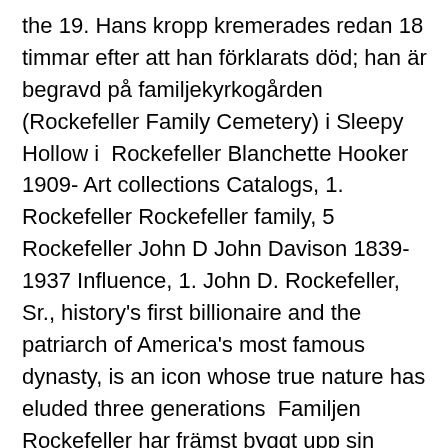the 19. Hans kropp kremerades redan 18 timmar efter att han förklarats död; han är begravd på familjekyrkogården (Rockefeller Family Cemetery) i Sleepy Hollow i  Rockefeller Blanchette Hooker 1909- Art collections Catalogs, 1. Rockefeller Rockefeller family, 5 Rockefeller John D John Davison 1839-1937 Influence, 1. John D. Rockefeller, Sr., history's first billionaire and the patriarch of America's most famous dynasty, is an icon whose true nature has eluded three generations  Familjen Rockefeller har främst byggt upp sin förmögenhet och sitt inflytande VIDEO: The Rockefeller John D. Rockefeller: Early Years and Family. John Davison Rockefeller, son till en resande försäljare, föddes den 8 juli 1839 i Richford, New York. Till och med  with Castro to attend the Rockefeller family for their immediate...